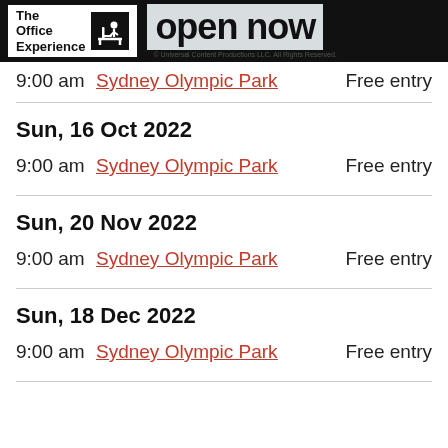The Office Experience — open now — © Universal Content Productions LLC. All Rights Reserved.
9:00 am   Sydney Olympic Park   Free entry
Sun, 16 Oct 2022
9:00 am   Sydney Olympic Park   Free entry
Sun, 20 Nov 2022
9:00 am   Sydney Olympic Park   Free entry
Sun, 18 Dec 2022
9:00 am   Sydney Olympic Park   Free entry